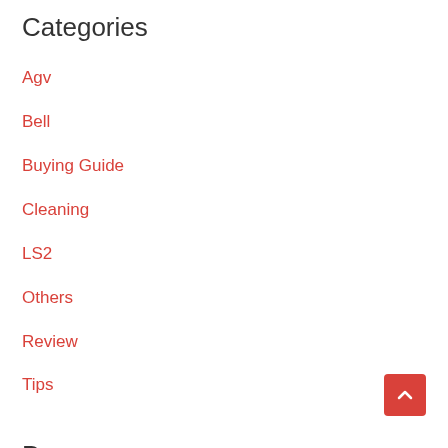Categories
Agv
Bell
Buying Guide
Cleaning
LS2
Others
Review
Tips
Pages
About
Privacy Policy
Disclosure